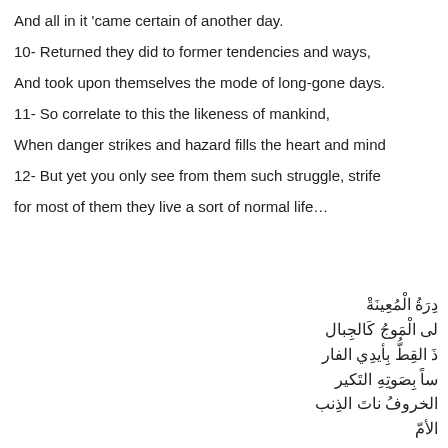And all in it 'came certain of another day.
10- Returned they did to former tendencies and ways,
And took upon themselves the mode of long-gone days.
11- So correlate to this the likeness of mankind,
When danger strikes and hazard fills the heart and mind
12- But yet you only see from them such struggle, strife
for most of them they live a sort of normal life…
درةُ الْمُعِينَةْ
لى الْمَوجُ كَالجِبال
ذَ القِطُّ بِأيدِي الفار
ساً بِصَوتِهِ التَكير
الخروفُ ناتَ الذِنب
الأمّ